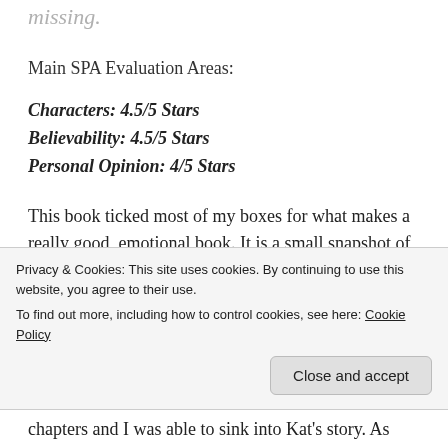missing.
Main SPA Evaluation Areas:
Characters: 4.5/5 Stars
Believability: 4.5/5 Stars
Personal Opinion: 4/5 Stars
This book ticked most of my boxes for what makes a really good, emotional book. It is a small snapshot of life as a mother learns to parent her autistic child and all the struggles that entails.
Privacy & Cookies: This site uses cookies. By continuing to use this website, you agree to their use. To find out more, including how to control cookies, see here: Cookie Policy
chapters and I was able to sink into Kat's story. As